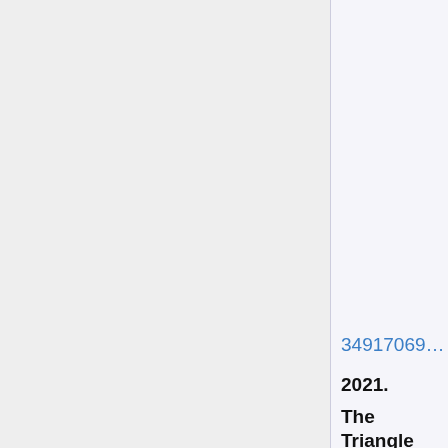With Inflammatory and Coagulatory in COVID Severe Patients.
349170698
2021.
The Triangle